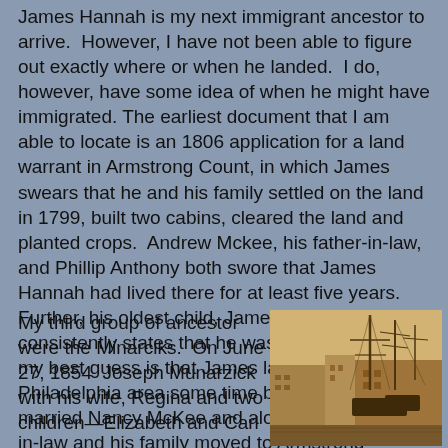James Hannah is my next immigrant ancestor to arrive. However, I have not been able to figure out exactly where or when he landed. I do, however, have some idea of when he might have immigrated. The earliest document that I am able to locate is an 1806 application for a land warrant in Armstrong Count, in which James swears that he and his family settled on the land in 1799, built two cabins, cleared the land and planted crops. Andrew Mckee, his father-in-law, and Phillip Anthony both swore that James Hannah had lived there for at least five years. Further, his oldest child, James Hannah, consistently states that he was born in 1795. So my best guess is that James landed in the Philadelphia area some time before 1795, married Nancy McKee and along with his father-in-law and his family moved to Armstrong County. At that time, it took 7 to 8 weeks to cross the Atlantic.
My third group of ancestor were the Minarciks. On June 27, 1854 Joseph Munarzick with his wife, Regina and two children—Elizabeth and Carl— arriving in the port of New York...
[Figure (photo): Historical sepia-toned photograph of a harbor with tall-masted sailing ships and buildings along the waterfront.]